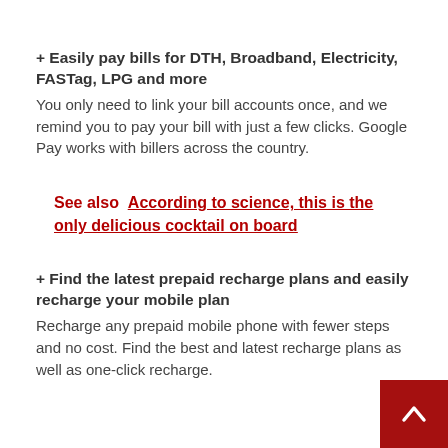+ Easily pay bills for DTH, Broadband, Electricity, FASTag, LPG and more
You only need to link your bill accounts once, and we remind you to pay your bill with just a few clicks. Google Pay works with billers across the country.
See also  According to science, this is the only delicious cocktail on board
+ Find the latest prepaid recharge plans and easily recharge your mobile plan
Recharge any prepaid mobile phone with fewer steps and no cost. Find the best and latest recharge plans as well as one-click recharge.